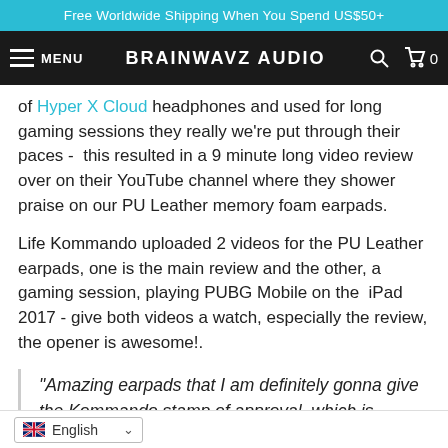Free Worldwide Shipping When You Spend US$50+
MENU  BRAINWAVZ AUDIO  🔍  🛒 0
of Hyper X Cloud headphones and used for long gaming sessions they really we're put through their paces -  this resulted in a 9 minute long video review over on their YouTube channel where they shower praise on our PU Leather memory foam earpads.
Life Kommando uploaded 2 videos for the PU Leather earpads, one is the main review and the other, a gaming session, playing PUBG Mobile on the  iPad 2017 - give both videos a watch, especially the review, the opener is awesome!.
"Amazing earpads that I am definitely gonna give the Kommando stamp of approval, which is something I haven't given in a long while".